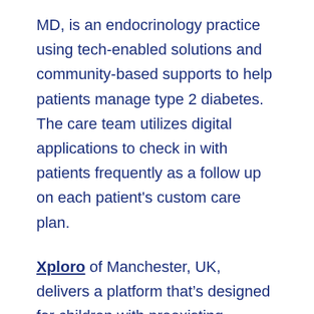MD, is an endocrinology practice using tech-enabled solutions and community-based supports to help patients manage type 2 diabetes. The care team utilizes digital applications to check in with patients frequently as a follow up on each patient's custom care plan.
Xploro of Manchester, UK, delivers a platform that's designed for children with preexisting conditions and illnesses, and tested by an Advisory Board of 12 children aged 9-17. The digital engagement